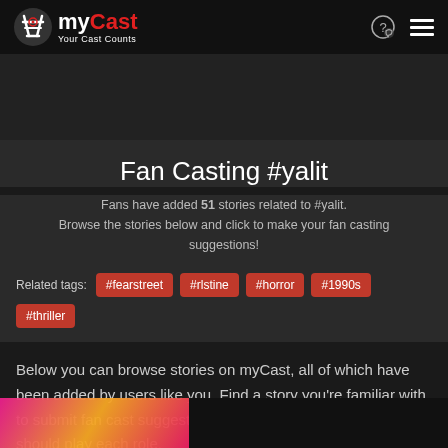myCast — Your Cast Counts
Fan Casting #yalit
Fans have added 51 stories related to #yalit. Browse the stories below and click to make your fan casting suggestions!
Related tags: #fearstreet #rlstine #horror #1990s #thriller
Below you can browse stories on myCast, all of which have been added by users like you. Find a story you're familiar with to submit fan cast suggestions, or vote on who you think should play each role.
[Figure (screenshot): Partial preview of a story card at the bottom of the page with colorful illustrated cover art]